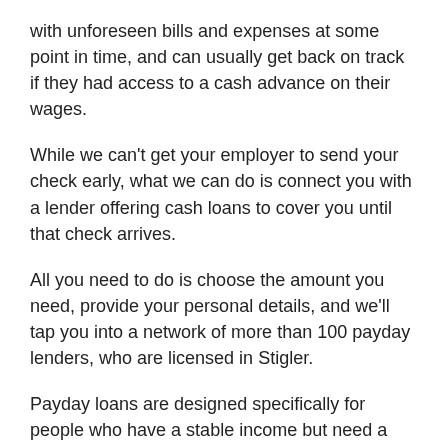with unforeseen bills and expenses at some point in time, and can usually get back on track if they had access to a cash advance on their wages.
While we can't get your employer to send your check early, what we can do is connect you with a lender offering cash loans to cover you until that check arrives.
All you need to do is choose the amount you need, provide your personal details, and we'll tap you into a network of more than 100 payday lenders, who are licensed in Stigler.
Payday loans are designed specifically for people who have a stable income but need a little breathing room. That's why you're expected to make the repayment in one lump sum, on or just after the next time you get paid (usually no longer than 30 days).